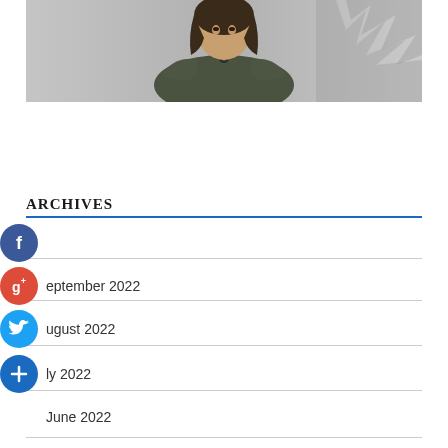[Figure (photo): Photo of a woman wearing a dark olive/green draped top with a pendant necklace, against a grey background with tree silhouette]
ARCHIVES
September 2022
August 2022
July 2022
June 2022